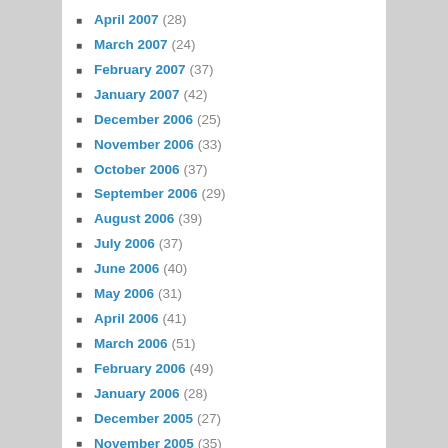April 2007 (28)
March 2007 (24)
February 2007 (37)
January 2007 (42)
December 2006 (25)
November 2006 (33)
October 2006 (37)
September 2006 (29)
August 2006 (39)
July 2006 (37)
June 2006 (40)
May 2006 (31)
April 2006 (41)
March 2006 (51)
February 2006 (49)
January 2006 (28)
December 2005 (27)
November 2005 (35)
October 2005 (42)
September 2005 (52)
August 2005 (66)